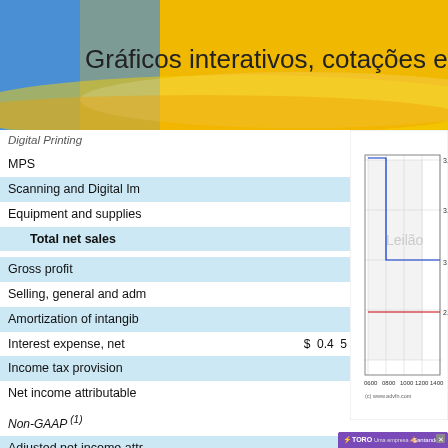[Figure (screenshot): Banner advertisement with text 'Gráficos interativos, cotações e ferram' on golden/blue gradient background]
Digital Printing
MPS
Scanning and Digital Im
Equipment and supplies
Total net sales
Gross profit
Selling, general and adm
Amortization of intangib
Interest expense, net
Income tax provision
Net income attributable
Non-GAAP (1)
Adjusted net income attr
EBITDA (1)
Adjusted EBITDA (1)
[Figure (continuous-plot): Stock price chart showing price range 2.98-3.04 over time from 0600 to 1600+, with blue and red step lines and watermark 'Leilão'. Source: (c) www.advfn.com]
[Figure (screenshot): Toro co-location DMA4 advertisement with purple background, Toro and Santander logos, and photo of person]
(1) See "Non-GAAP Fina related to our Non-GA